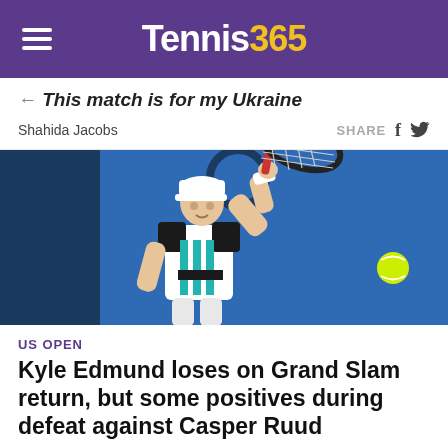Tennis365
This match is for my Ukraine
Shahida Jacobs
[Figure (photo): Tennis player Kyle Edmund hitting a forehand shot on a blue hard court, wearing white Nike outfit with teal/black pattern, white cap, holding a Wilson racket above his head. A yellow tennis ball is visible to the right.]
US OPEN
Kyle Edmund loses on Grand Slam return, but some positives during defeat against Casper Ruud